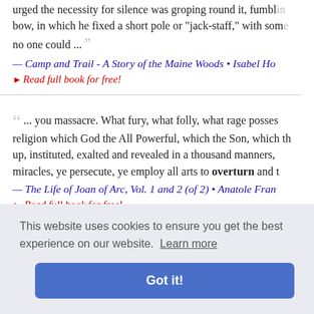urged the necessity for silence was groping round it, fumbling bow, in which he fixed a short pole or "jack-staff," with some no one could ...
— Camp and Trail - A Story of the Maine Woods • Isabel Ho
▸ Read full book for free!
... you massacre. What fury, what folly, what rage posses religion which God the All Powerful, which the Son, which th up, instituted, exalted and revealed in a thousand manners, miracles, ye persecute, ye employ all arts to overturn and t
— The Life of Joan of Arc, Vol. 1 and 2 (of 2) • Anatole Fran
▸ Read full book for free!
This website uses cookies to ensure you get the best experience on our website. Learn more
Got it!
aldon woul l confine m o-and-thirty